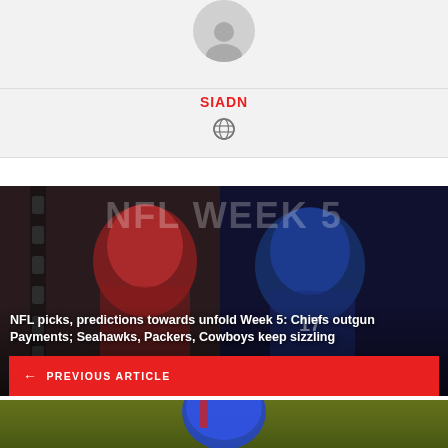[Figure (illustration): Author avatar circle with silhouette icon, grey background]
SIADN
[Figure (illustration): Globe/language icon in grey]
[Figure (photo): NFL Week 5 promotional image showing two football players in helmets, dark moody background with 'NFL WEEK 5' text overlay]
NFL picks, predictions towards unfold Week 5: Chiefs outgun Payments; Seahawks, Packers, Cowboys keep sizzling
← PREVIOUS ARTICLE
[Figure (photo): Partial bottom teaser image showing a football player helmet on a field background]